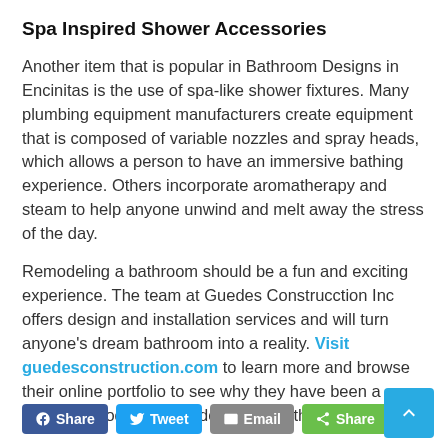Spa Inspired Shower Accessories
Another item that is popular in Bathroom Designs in Encinitas is the use of spa-like shower fixtures. Many plumbing equipment manufacturers create equipment that is composed of variable nozzles and spray heads, which allows a person to have an immersive bathing experience. Others incorporate aromatherapy and steam to help anyone unwind and melt away the stress of the day.
Remodeling a bathroom should be a fun and exciting experience. The team at Guedes Construcction Inc offers design and installation services and will turn anyone's dream bathroom into a reality. Visit guedesconstruction.com to learn more and browse their online portfolio to see why they have been a trusted remodeling provider for more than 20 years.
[Figure (infographic): Social share buttons: Facebook Share, Twitter Tweet, Email, Share (green). Blue scroll-to-top arrow button at bottom right.]